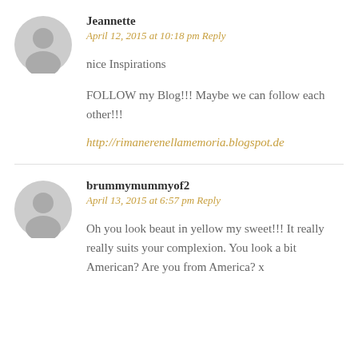Jeannette
April 12, 2015 at 10:18 pm Reply
nice Inspirations
FOLLOW my Blog!!! Maybe we can follow each other!!!
http://rimanerenellamemoria.blogspot.de
brummymummyof2
April 13, 2015 at 6:57 pm Reply
Oh you look beaut in yellow my sweet!!! It really really suits your complexion. You look a bit American? Are you from America? x